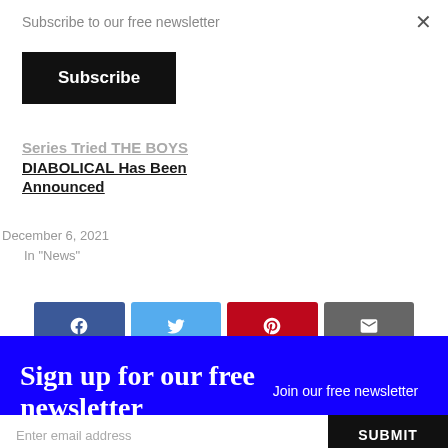Subscribe to our free newsletter
Subscribe
Series Tried THE BOYS DIABOLICAL Has Been Announced
December 6, 2021
In "News"
[Figure (infographic): Social share buttons: Facebook, Twitter, Pinterest, Email]
Sign up for our free newsletter
Join our free newsletter
Enter email address
SUBMIT